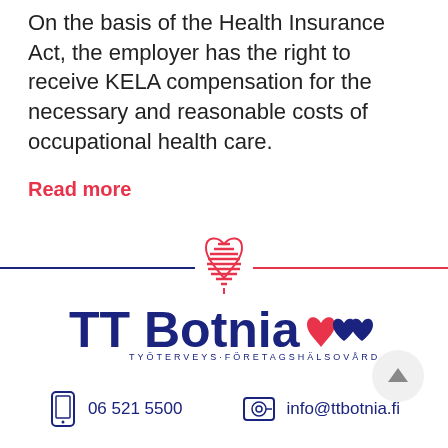On the basis of the Health Insurance Act, the employer has the right to receive KELA compensation for the necessary and reasonable costs of occupational health care.
Read more
[Figure (logo): TT Botnia logo with heart icons and text TYÖTERVEYS·FÖRETAGSHÄLSOVÅRD]
06 521 5500
info@ttbotnia.fi